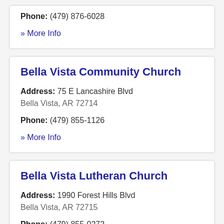Phone: (479) 876-6028
» More Info
Bella Vista Community Church
Address: 75 E Lancashire Blvd Bella Vista, AR 72714
Phone: (479) 855-1126
» More Info
Bella Vista Lutheran Church
Address: 1990 Forest Hills Blvd Bella Vista, AR 72715
Phone: (479) 855-0272
» More Info